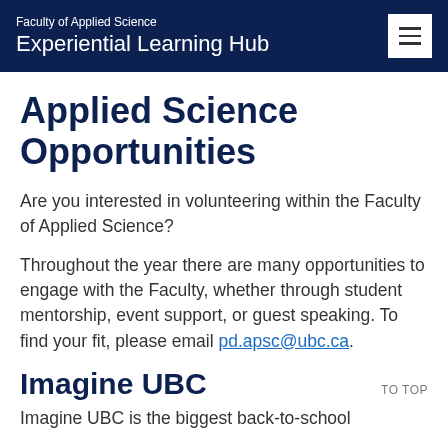Faculty of Applied Science
Experiential Learning Hub
Applied Science Opportunities
Are you interested in volunteering within the Faculty of Applied Science?
Throughout the year there are many opportunities to engage with the Faculty, whether through student mentorship, event support, or guest speaking. To find your fit, please email pd.apsc@ubc.ca.
Imagine UBC
Imagine UBC is the biggest back-to-school